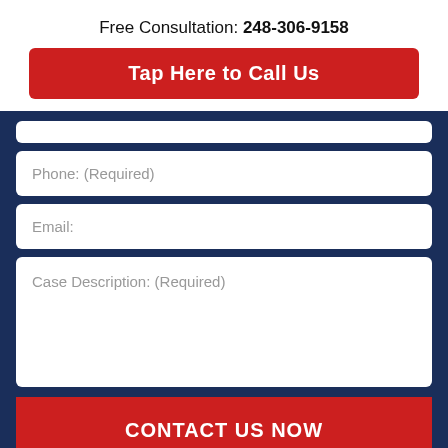Free Consultation: 248-306-9158
Tap Here to Call Us
Phone: (Required)
Email:
Case Description: (Required)
CONTACT US NOW